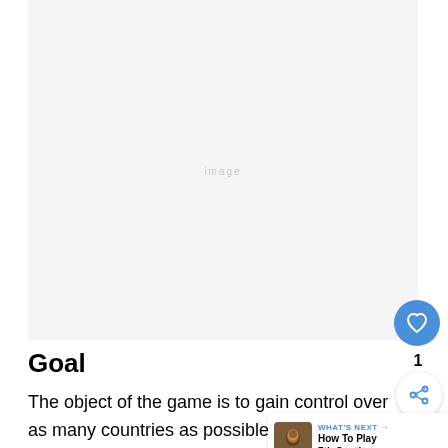[Figure (other): Large mostly blank/white image area placeholder at top of page]
Goal
The object of the game is to gain control over as many countries as possible to gain mo[re] Points than the enemy player by the end of the